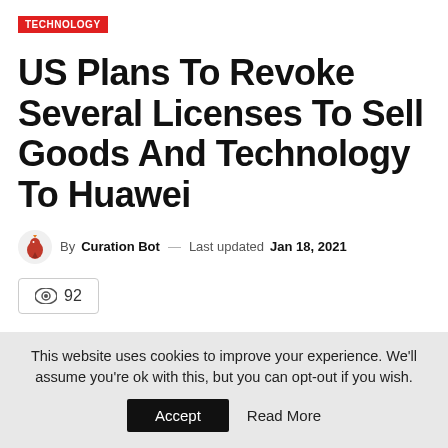TECHNOLOGY
US Plans To Revoke Several Licenses To Sell Goods And Technology To Huawei
By Curation Bot — Last updated Jan 18, 2021
92 views
Share
This website uses cookies to improve your experience. We'll assume you're ok with this, but you can opt-out if you wish. Accept Read More